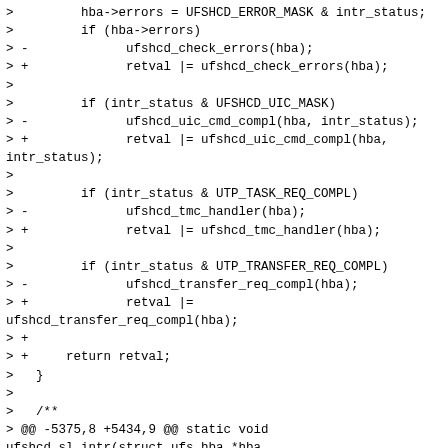>         hba->errors = UFSHCD_ERROR_MASK & intr_status;
>         if (hba->errors)
> -             ufshcd_check_errors(hba);
> +             retval |= ufshcd_check_errors(hba);
>
>         if (intr_status & UFSHCD_UIC_MASK)
> -             ufshcd_uic_cmd_compl(hba, intr_status);
> +             retval |= ufshcd_uic_cmd_compl(hba,
intr_status);
>
>         if (intr_status & UTP_TASK_REQ_COMPL)
> -             ufshcd_tmc_handler(hba);
> +             retval |= ufshcd_tmc_handler(hba);
>
>         if (intr_status & UTP_TRANSFER_REQ_COMPL)
> -             ufshcd_transfer_req_compl(hba);
> +             retval |=
ufshcd_transfer_req_compl(hba);
> +
> +     return retval;
>   }
>
>   /**
> @@ -5375,8 +5434,9 @@ static void
ufshcd_sl_intr(struct ufs_hba *hba,
> u32 intr_status)
>   * @irq: irq number
>   * @__hba: pointer to adapter instance
>   *
> - * Returns IRQ_HANDLED - If interrupt is valid
> *              IRQ_NONE - If invalid interrupt